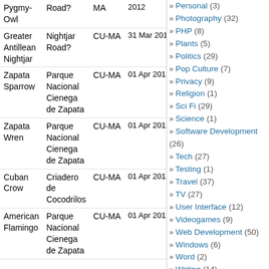| Species | Location | Country | Date |
| --- | --- | --- | --- |
| Pygmy-Owl | Road? | MA | 2012 |
| Greater Antillean Nightjar | Nightjar Road? | CU-MA | 31 Mar 2012 |
| Zapata Sparrow | Parque Nacional Cienega de Zapata | CU-MA | 01 Apr 2012 |
| Zapata Wren | Parque Nacional Cienega de Zapata | CU-MA | 01 Apr 2012 |
| Cuban Crow | Criadero de Cocodrilos | CU-MA | 01 Apr 2012 |
| American Flamingo | Parque Nacional Cienega de Zapata | CU-MA | 01 Apr 2012 |
» Personal (3)
» Photography (32)
» PHP (8)
» Plants (5)
» Politics (29)
» Pop Culture (7)
» Privacy (9)
» Religion (1)
» Sci Fi (29)
» Science (1)
» Software Development (26)
» Tech (27)
» Testing (1)
» Travel (37)
» TV (27)
» User Interface (12)
» Videogames (9)
» Web Development (50)
» Windows (6)
» Word (2)
» Writing (14)